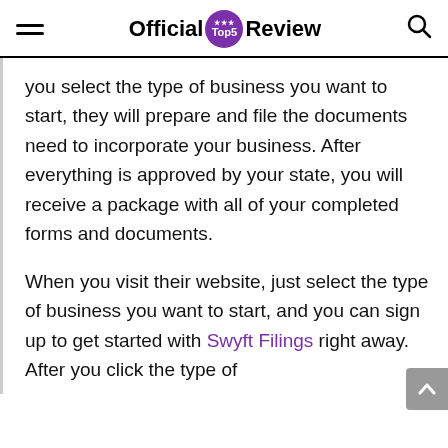Official Top5 Review
you select the type of business you want to start, they will prepare and file the documents need to incorporate your business. After everything is approved by your state, you will receive a package with all of your completed forms and documents.
When you visit their website, just select the type of business you want to start, and you can sign up to get started with Swyft Filings right away. After you click the type of